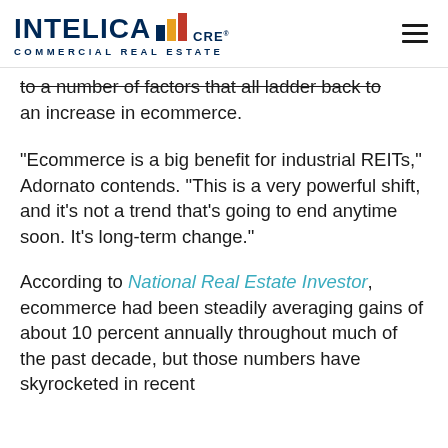INTELICA CRE COMMERCIAL REAL ESTATE
to a number of factors that all ladder back to an increase in ecommerce.
“Ecommerce is a big benefit for industrial REITs,” Adornato contends. “This is a very powerful shift, and it’s not a trend that’s going to end anytime soon. It’s long-term change.”
According to National Real Estate Investor, ecommerce had been steadily averaging gains of about 10 percent annually throughout much of the past decade, but those numbers have skyrocketed in recent